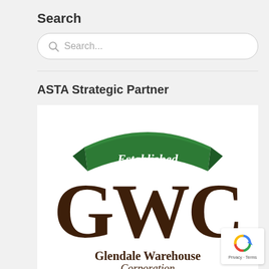Search
Search...
ASTA Strategic Partner
[Figure (logo): Glendale Warehouse Corporation logo with green banner reading 'Established', large brown serif GWC monogram, and text 'Glendale Warehouse Corporation' below.]